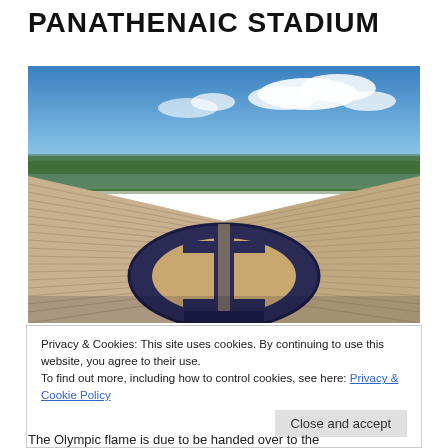PANATHENAIC STADIUM
[Figure (photo): Aerial view of the Panathenaic Stadium in Athens, showing the marble horseshoe-shaped seating tiers, the blue running track oval, sandy infield, and a backdrop of trees and blue sky with white clouds.]
Privacy & Cookies: This site uses cookies. By continuing to use this website, you agree to their use.
To find out more, including how to control cookies, see here: Privacy & Cookie Policy
The Olympic flame is due to be handed over to the